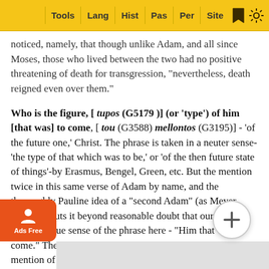Tools | Lang | Hist | Pas | Per | Site
noticed, namely, that though unlike Adam, and all since Moses, those who lived between the two had no positive threatening of death for transgression, "nevertheless, death reigned even over them."
Who is the figure, [ tupos (G5179)] (or 'type') of him [that was] to come, [ tou (G3588) mellontos (G3195)] - 'of the future one,' Christ. The phrase is taken in a neuter sense-'the type of that which was to be,' or 'of the then future state of things'-by Erasmus, Bengel, Green, etc. But the mention twice in this same verse of Adam by name, and the thoroughly Pauline idea of a "second Adam" (as Meyer remarks) puts it beyond reasonable doubt that our version gives the true sense of the phrase here - "Him that was to come." The clause itself is inserted (as Alford says) on the mention of the name "Adam," as the one man of whose speaking, to recall the purpose for which he is treating of him-a...ed here i...d, neith...e